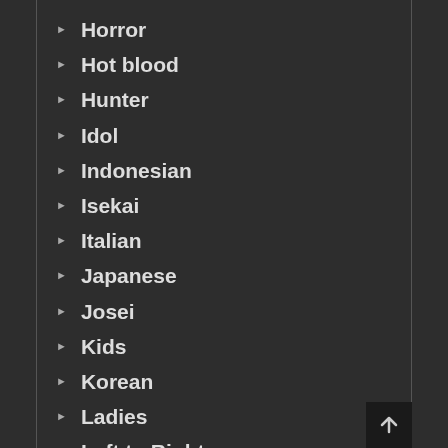Horror
Hot blood
Hunter
Idol
Indonesian
Isekai
Italian
Japanese
Josei
Kids
Korean
Ladies
Left to Right